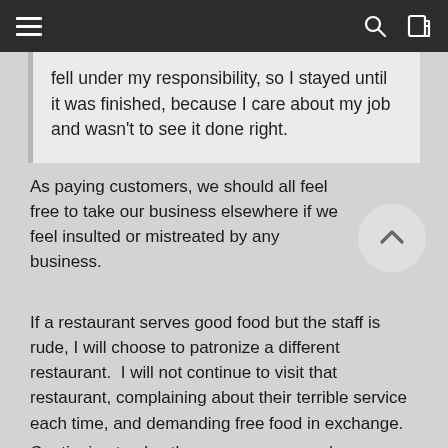fell under my responsibility, so I stayed until it was finished, because I care about my job and wasn't to see it done right.
As paying customers, we should all feel free to take our business elsewhere if we feel insulted or mistreated by any business.
If a restaurant serves good food but the staff is rude, I will choose to patronize a different restaurant.  I will not continue to visit that restaurant, complaining about their terrible service each time, and demanding free food in exchange.
Continuing to play the game means you're accepting, even endorsing, this insulting behavior.